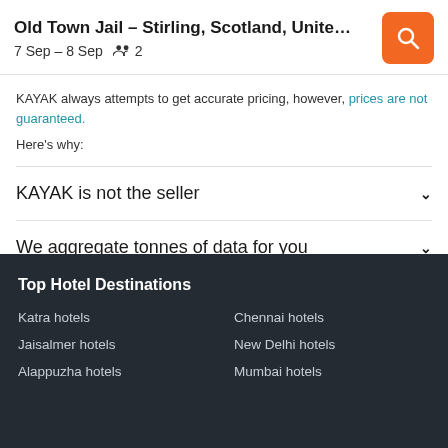Old Town Jail – Stirling, Scotland, United King… | 7 Sep – 8 Sep  2
KAYAK always attempts to get accurate pricing, however, prices are not guaranteed.
Here's why:
KAYAK is not the seller
We aggregate tonnes of data for you
Why aren't prices 100% accurate?
Top Hotel Destinations
Katra hotels
Jaisalmer hotels
Alappuzha hotels
Chennai hotels
New Delhi hotels
Mumbai hotels